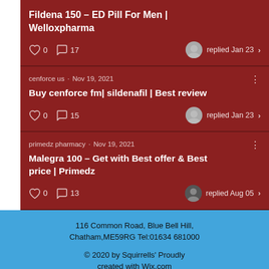Fildena 150 – ED Pill For Men | Welloxpharma
0  17  replied Jan 23
cenforce us · Nov 19, 2021
Buy cenforce fm| sildenafil | Best review
0  15  replied Jan 23
primedz pharmacy · Nov 19, 2021
Malegra 100 – Get with Best offer & Best price | Primedz
0  13  replied Aug 05
116 Common Road, Blue Bell Hill, Chatham,ME59RG Tel:01634 681000
© 2020 by Squirrells' Proudly created with Wix.com